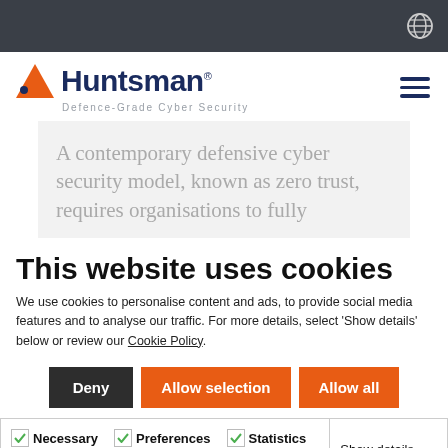[Figure (logo): Huntsman Defence-Grade Cyber Security logo with orange triangle]
A contemporary defensive cyber security model, known as zero trust, requires organisations to fully
This website uses cookies
We use cookies to personalise content and ads, to provide social media features and to analyse our traffic. For more details, select 'Show details' below or review our Cookie Policy.
Deny | Allow selection | Allow all
Necessary  Preferences  Statistics  Marketing  Show details